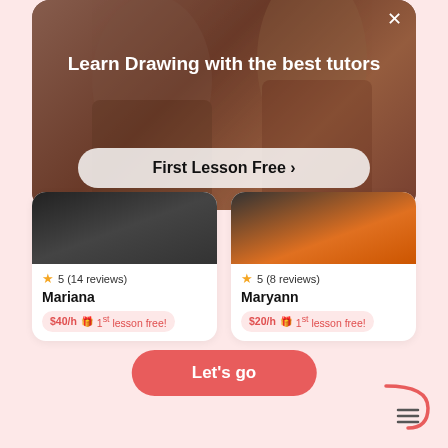[Figure (screenshot): Modal overlay with dark brown background showing a drawing/art lesson. Title reads 'Learn Drawing with the best tutors' with a 'First Lesson Free >' button. Below are two tutor cards: Mariana (5 stars, 14 reviews, $40/h, 1st lesson free) and Maryann (5 stars, 8 reviews, $20/h, 1st lesson free). A 'Let's go' red button appears at bottom.]